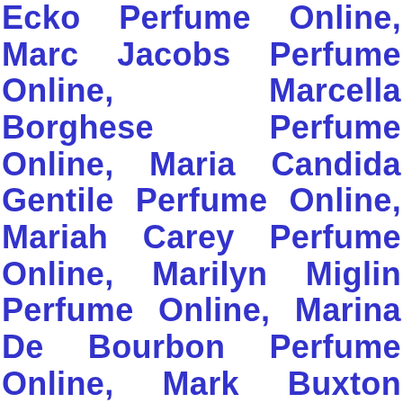Ecko Perfume Online, Marc Jacobs Perfume Online, Marcella Borghese Perfume Online, Maria Candida Gentile Perfume Online, Mariah Carey Perfume Online, Marilyn Miglin Perfume Online, Marina De Bourbon Perfume Online, Mark Buxton Perfume Online, Marlo Cosmetics Perfume Online, Marmol & Son Perfume Online, Marquise Letellier Perfume Online, Marshall Fields Perfume Online, Marvel Perfume Online, Mary J. Blige Perfume Online, Mary-Kate And Ashley Perfume Online, Mary-Kate and Ashley Perfume Online, Mauboussin Perfume Online, Maurer & Wirtz
[Figure (screenshot): A popup notification overlay showing a perfume product purchase. Contains a product image of Jimmy Choo Ice perfume bottle, text 'Raynail S. in DETROIT, United States purchased', product name 'Jimmy Choo Ice by Jimmy C...', time stamp '8 hour(s) ago', 'Verified by CareCart' text, a close button X, a red notification badge showing '1', and a dark circular cart icon.]